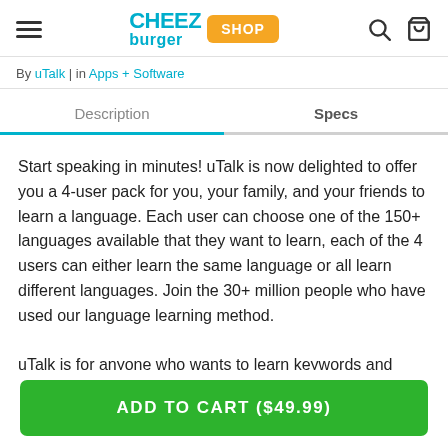Cheezburger Shop
By uTalk | in Apps + Software
Description
Specs
Start speaking in minutes! uTalk is now delighted to offer you a 4-user pack for you, your family, and your friends to learn a language. Each user can choose one of the 150+ languages available that they want to learn, each of the 4 users can either learn the same language or all learn different languages. Join the 30+ million people who have used our language learning method.

uTalk is for anyone who wants to learn keywords and phrases in
ADD TO CART ($49.99)